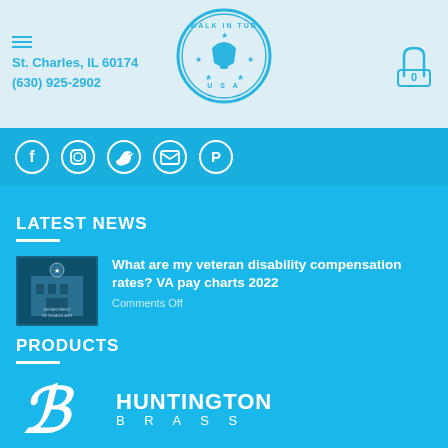St. Charles IL 60174 | (630) 925-2902
[Figure (logo): Walk In Tub USA circular logo with tub icon in center]
[Figure (illustration): Social media icons: Facebook, Instagram, Twitter, Email, Pinterest]
LATEST NEWS
[Figure (photo): Department of Veterans Affairs building sign photo thumbnail]
What are my veteran disability compensation rates? VA pay charts 2022
Comments Off
PRODUCTS
[Figure (logo): Huntington Brass logo - white stylized B mark with HUNTINGTON BRASS text]